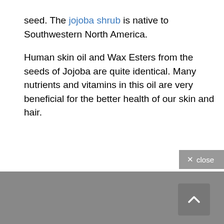seed. The jojoba shrub is native to Southwestern North America.

Human skin oil and Wax Esters from the seeds of Jojoba are quite identical. Many nutrients and vitamins in this oil are very beneficial for the better health of our skin and hair.